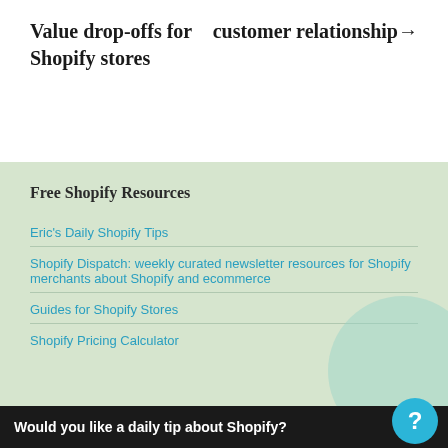Value drop-offs for Shopify stores
customer relationship →
Free Shopify Resources
Eric's Daily Shopify Tips
Shopify Dispatch: weekly curated newsletter resources for Shopify merchants about Shopify and ecommerce
Guides for Shopify Stores
Shopify Pricing Calculator
Would you like a daily tip about Shopify?